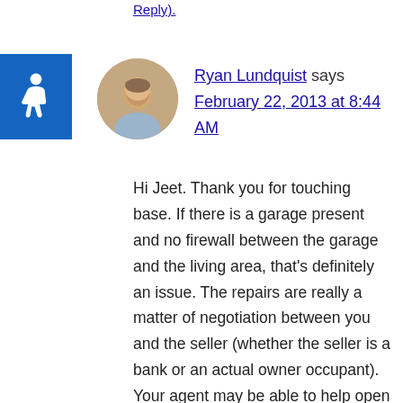Reply).
[Figure (photo): Accessibility wheelchair icon on blue background]
[Figure (photo): Avatar photo of Ryan Lundquist, a man in a blue shirt]
Ryan Lundquist says
February 22, 2013 at 8:44 AM
Hi Jeet. Thank you for touching base. If there is a garage present and no firewall between the garage and the living area, that's definitely an issue. The repairs are really a matter of negotiation between you and the seller (whether the seller is a bank or an actual owner occupant). Your agent may be able to help open up conversation with the seller or Listing Agent on possible negotiations. That would probably be a first step. Ultimately if the repairs are not done, the loan cannot happen. Let me know if you have any other questions. I wish you the